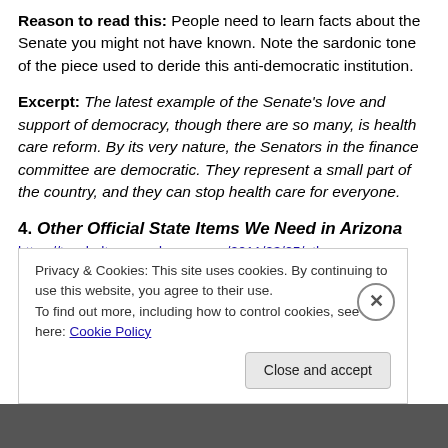Reason to read this: People need to learn facts about the Senate you might not have known. Note the sardonic tone of the piece used to deride this anti-democratic institution.
Excerpt: The latest example of the Senate's love and support of democracy, though there are so many, is health care reform. By its very nature, the Senators in the finance committee are democratic. They represent a small part of the country, and they can stop health care for everyone.
4. Other Official State Items We Need in Arizona
https://taxshelters.wordpress.com/2011/03/25/other-
Privacy & Cookies: This site uses cookies. By continuing to use this website, you agree to their use.
To find out more, including how to control cookies, see here: Cookie Policy